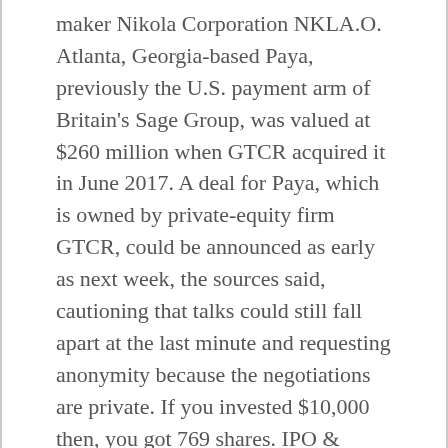maker Nikola Corporation NKLA.O. Atlanta, Georgia-based Paya, previously the U.S. payment arm of Britain's Sage Group, was valued at $260 million when GTCR acquired it in June 2017. A deal for Paya, which is owned by private-equity firm GTCR, could be announced as early as next week, the sources said, cautioning that talks could still fall apart at the last minute and requesting anonymity because the negotiations are private. If you invested $10,000 then, you got 769 shares. IPO & Stock Price Payais registered under the ticker NASDAQ:PAYA. Thank you. FinTech Acquisition III is the third blank-check firm founded by seasoned investor Daniel Cohen. Commenting on the merger, Paya CEO Jeff Hack said: “We are excited to partner with FinTech III to accelerate our path to becoming a public company and greatly appreciate GTCR’s continued investment